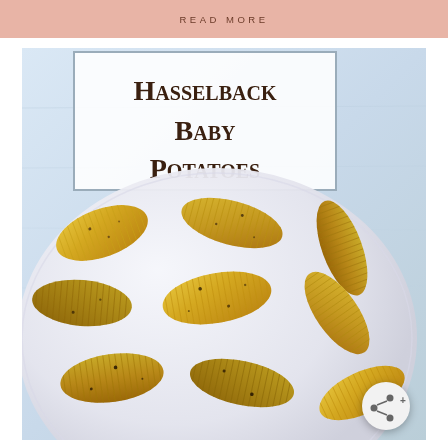READ MORE
[Figure (photo): Food blog page showing Hasselback Baby Potatoes. A salmon/pink banner at top reads READ MORE. Below is a large food photograph showing a white plate piled with golden hasselback baby potatoes seasoned with pepper and herbs, set against a light blue-white wooden background. A title overlay box with border reads 'Hasselback Baby Potatoes' in serif font. A share button appears in the lower right corner of the image.]